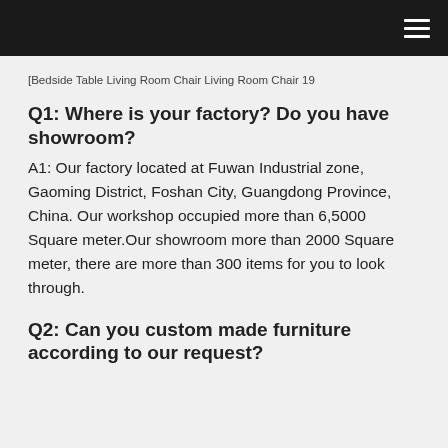[Figure (other): Broken image placeholder with alt text: Bedside Table Living Room Chair Living Room Chair 19]
Q1: Where is your factory? Do you have showroom?
A1: Our factory located at Fuwan Industrial zone, Gaoming District, Foshan City, Guangdong Province, China. Our workshop occupied more than 6,5000 Square meter.Our showroom more than 2000 Square meter, there are more than 300 items for you to look through.
Q2: Can you custom made furniture according to our request?